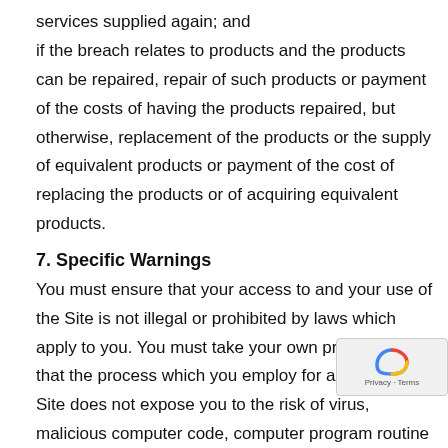services supplied again; and
if the breach relates to products and the products can be repaired, repair of such products or payment of the costs of having the products repaired, but otherwise, replacement of the products or the supply of equivalent products or payment of the cost of replacing the products or of acquiring equivalent products.
7. Specific Warnings
You must ensure that your access to and your use of the Site is not illegal or prohibited by laws which apply to you. You must take your own precautions that the process which you employ for accessing the Site does not expose you to the risk of virus, malicious computer code, computer program routine or process or other forms of interference which may damage your own computer